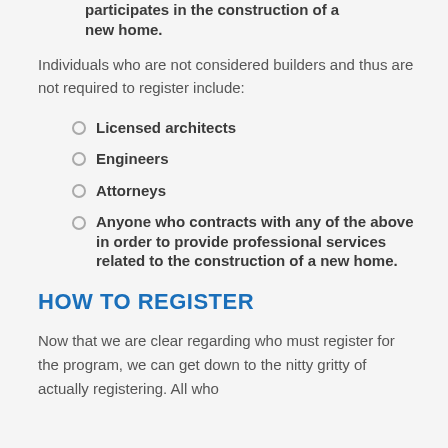participates in the construction of a new home.
Individuals who are not considered builders and thus are not required to register include:
Licensed architects
Engineers
Attorneys
Anyone who contracts with any of the above in order to provide professional services related to the construction of a new home.
HOW TO REGISTER
Now that we are clear regarding who must register for the program, we can get down to the nitty gritty of actually registering. All who